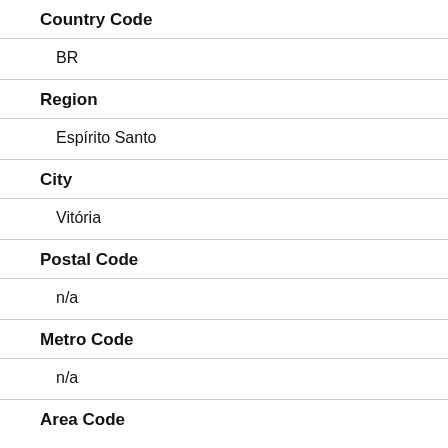Country Code
BR
Region
Espírito Santo
City
Vitória
Postal Code
n/a
Metro Code
n/a
Area Code